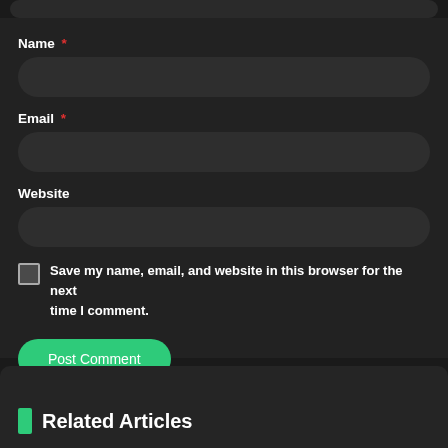Name *
Email *
Website
Save my name, email, and website in this browser for the next time I comment.
Post Comment
Related Articles